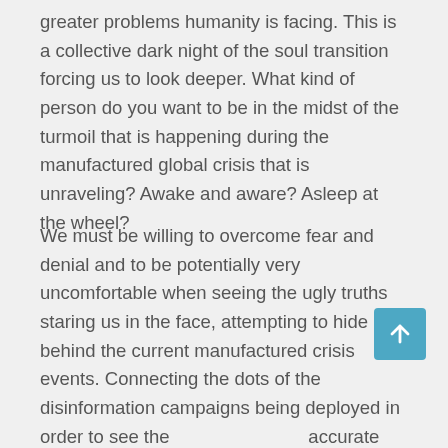greater problems humanity is facing. This is a collective dark night of the soul transition forcing us to look deeper. What kind of person do you want to be in the midst of the turmoil that is happening during the manufactured global crisis that is unraveling? Awake and aware? Asleep at the wheel?
We must be willing to overcome fear and denial and to be potentially very uncomfortable when seeing the ugly truths staring us in the face, attempting to hide behind the current manufactured crisis events. Connecting the dots of the disinformation campaigns being deployed in order to see the accurate motivations hidden behind the weaponization of the narrative, that is becoming clearer in the mainstream news every day. We must